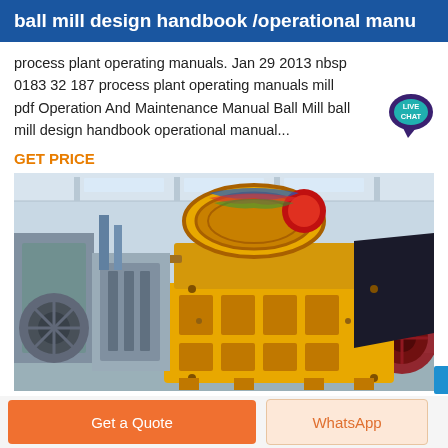ball mill design handbook /operational manu
process plant operating manuals. Jan 29 2013 nbsp 0183 32 187 process plant operating manuals mill pdf Operation And Maintenance Manual Ball Mill ball mill design handbook operational manual...
GET PRICE
[Figure (photo): Industrial jaw crusher / mining machinery in yellow color in a factory/warehouse setting. Large yellow mechanical crushing machine with pulleys and gears visible, along with other heavy industrial equipment in the background.]
Get a Quote
WhatsApp